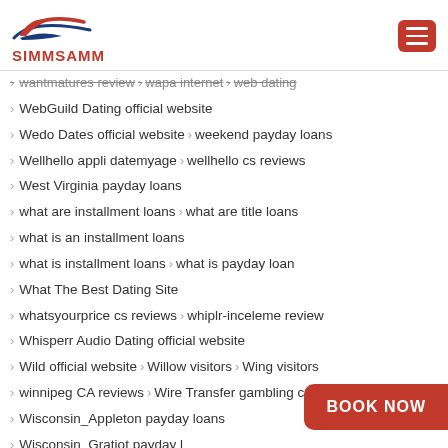[Figure (logo): SIMMSAMM logo with stylized red and blue swoosh above the text SIMMSAMM in red bold letters]
wantmatures review  wapa internet  web dating
WebGuild Dating official website
Wedo Dates official website  weekend payday loans
Wellhello appli datemyage  wellhello cs reviews
West Virginia payday loans
what are installment loans  what are title loans
what is an installment loans
what is installment loans  what is payday loan
What The Best Dating Site
whatsyourprice cs reviews  whiplr-inceleme review
Whisperr Audio Dating official website
Wild official website  Willow visitors  Wing visitors
winnipeg CA reviews  Wire Transfer gambling ca
Wisconsin_Appleton payday loans
Wisconsin_Gratiot payday loans
women looking for men link
women looking for men re...